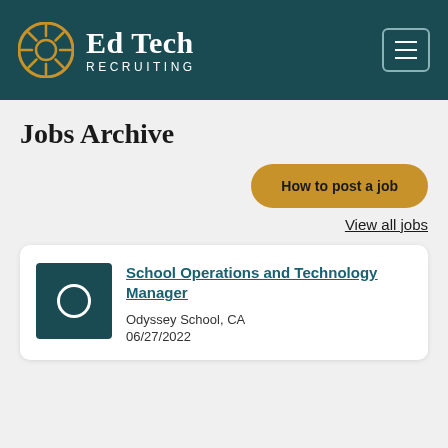Ed Tech RECRUITING
Jobs Archive
How to post a job
View all jobs
School Operations and Technology Manager
Odyssey School, CA
06/27/2022